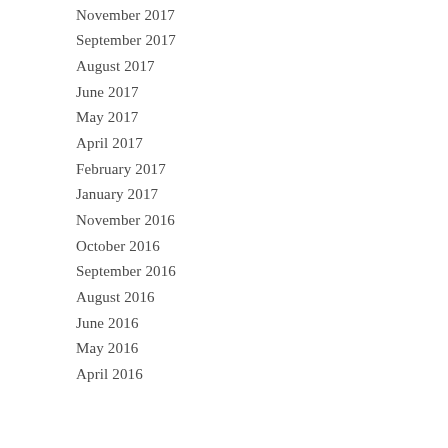November 2017
September 2017
August 2017
June 2017
May 2017
April 2017
February 2017
January 2017
November 2016
October 2016
September 2016
August 2016
June 2016
May 2016
April 2016